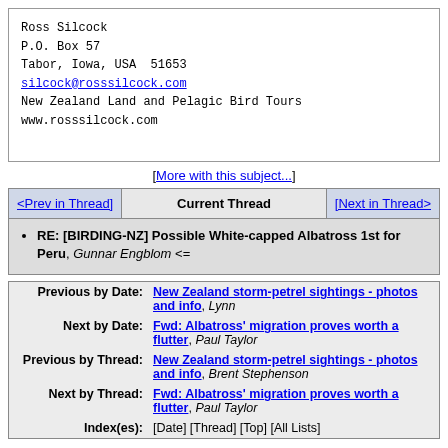Ross Silcock
P.O. Box 57
Tabor, Iowa, USA  51653
silcock@rosssilcock.com
New Zealand Land and Pelagic Bird Tours
www.rosssilcock.com
[More with this subject...]
<Prev in Thread] | Current Thread | [Next in Thread>
RE: [BIRDING-NZ] Possible White-capped Albatross 1st for Peru, Gunnar Engblom <=
| Label | Link/Text |
| --- | --- |
| Previous by Date: | New Zealand storm-petrel sightings - photos and info, Lynn |
| Next by Date: | Fwd: Albatross' migration proves worth a flutter, Paul Taylor |
| Previous by Thread: | New Zealand storm-petrel sightings - photos and info, Brent Stephenson |
| Next by Thread: | Fwd: Albatross' migration proves worth a flutter, Paul Taylor |